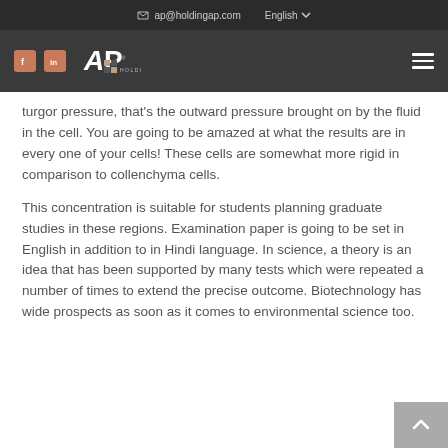ap@holdingap.com   English
[Figure (logo): AP Holding logo with Facebook and LinkedIn social icons and hamburger menu on dark navigation bar]
turgor pressure, that's the outward pressure brought on by the fluid in the cell. You are going to be amazed at what the results are in every one of your cells! These cells are somewhat more rigid in comparison to collenchyma cells.
This concentration is suitable for students planning graduate studies in these regions. Examination paper is going to be set in English in addition to in Hindi language. In science, a theory is an idea that has been supported by many tests which were repeated a number of times to extend the precise outcome. Biotechnology has wide prospects as soon as it comes to environmental science too.